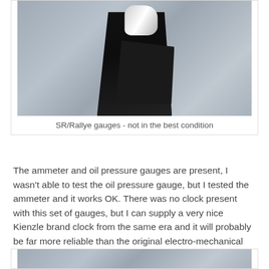[Figure (photo): Close-up photo of SR/Rallye gauges showing black instrument housing in poor condition, with white component visible at top, against gray background]
SR/Rallye gauges - not in the best condition
The ammeter and oil pressure gauges are present, I wasn't able to test the oil pressure gauge, but I tested the ammeter and it works OK. There was no clock present with this set of gauges, but I can supply a very nice Kienzle brand clock from the same era and it will probably be far more reliable than the original electro-mechanical one which were never up to much.
[Figure (photo): Partial view of another gauge photo, cropped at bottom of page, showing gray textured background]